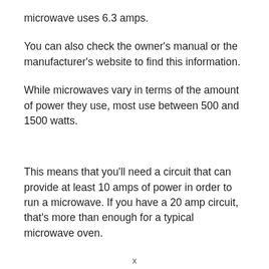microwave uses 6.3 amps.
You can also check the owner's manual or the manufacturer's website to find this information.
While microwaves vary in terms of the amount of power they use, most use between 500 and 1500 watts.
This means that you'll need a circuit that can provide at least 10 amps of power in order to run a microwave. If you have a 20 amp circuit, that's more than enough for a typical microwave oven.
x